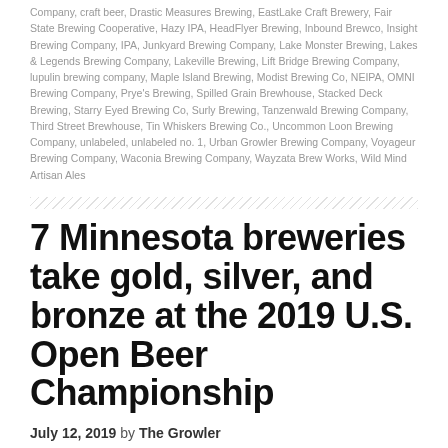Company, craft beer, Drastic Measures Brewing, EastLake Craft Brewery, Fair State Brewing Cooperative, Hazy IPA, HeadFlyer Brewing, Inbound Brewco, Insight Brewing Company, IPA, Junkyard Brewing Company, Lake Monster Brewing, Lakes & Legends Brewing Company, Lakeville Brewing, Lift Bridge Brewing Company, lupulin brewing company, Maple Island Brewing, Modist Brewing Co, NEIPA, OMNI Brewing Company, Prye's Brewing, Spilled Grain Brewhouse, Stacked Deck Brewing, Starry Eyed Brewing Co, Surly Brewing, Tanzenwald Brewing Company, Third Street Brewhouse, Tin Whiskers Brewing Co., Uncommon Loon Brewing Company, unlabeled, unlabeled no. 1, Urban Growler Brewing Company, Voyageur Brewing Company, Waconia Brewing Company, Wayzata Brew Works, Wild Mind Artisan Ales
7 Minnesota breweries take gold, silver, and bronze at the 2019 U.S. Open Beer Championship
July 12, 2019 by The Growler
[Figure (illustration): Illustrated image of beer cans/mugs at the bottom left of the page]
Over 7,000 beers from around the world were judged in over 130